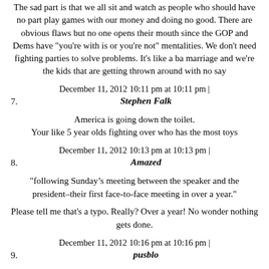The sad part is that we all sit and watch as people who should have no part play games with our money and doing no good. There are obvious flaws but no one opens their mouth since the GOP and Dems have "you're with is or you're not" mentalities. We don't need fighting parties to solve problems. It's like a ba marriage and we're the kids that are getting thrown around with no say
December 11, 2012 10:11 pm at 10:11 pm | Stephen Falk

America is going down the toilet.
Your like 5 year olds fighting over who has the most toys
December 11, 2012 10:13 pm at 10:13 pm | Amazed

"following Sunday’s meeting between the speaker and the president–their first face-to-face meeting in over a year."

Please tell me that's a typo. Really? Over a year! No wonder nothing gets done.
December 11, 2012 10:16 pm at 10:16 pm | pusblo